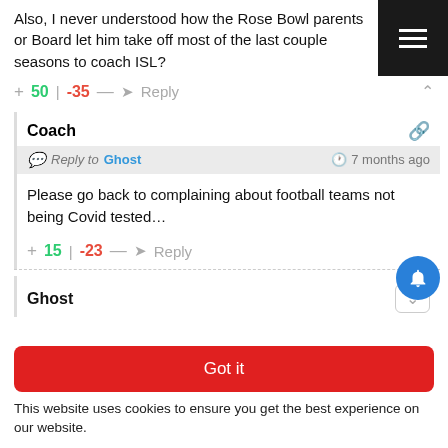Also, I never understood how the Rose Bowl parents or Board let him take off most of the last couple seasons to coach ISL?
+ 50 | -35 — Reply ^
Coach
Reply to Ghost  7 months ago
Please go back to complaining about football teams not being Covid tested…
+ 15 | -23 — Reply
Ghost
Got it
This website uses cookies to ensure you get the best experience on our website.